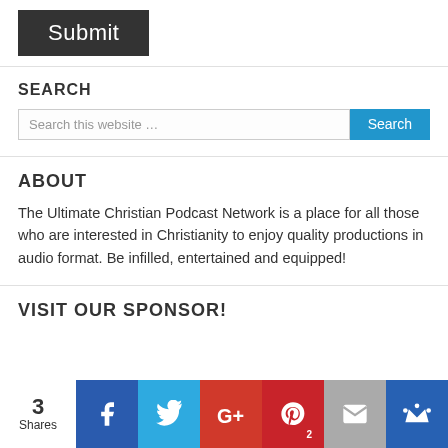[Figure (screenshot): A dark gray Submit button with white text]
SEARCH
[Figure (screenshot): Search input field with placeholder 'Search this website …' and a blue Search button]
ABOUT
The Ultimate Christian Podcast Network is a place for all those who are interested in Christianity to enjoy quality productions in audio format. Be infilled, entertained and equipped!
VISIT OUR SPONSOR!
[Figure (infographic): Social share bar showing 3 Shares, with Facebook, Twitter, Google+, Pinterest (2), Email, and a crown icon buttons]